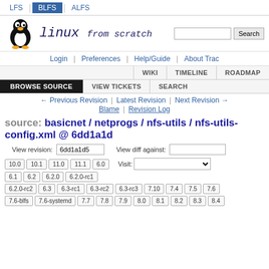LFS | BLFS | ALFS
[Figure (logo): Linux From Scratch Tux penguin logo with 'linux from scratch' text]
Login | Preferences | Help/Guide | About Trac
WIKI | TIMELINE | ROADMAP
BROWSE SOURCE | VIEW TICKETS | SEARCH
← Previous Revision | Latest Revision | Next Revision → | Blame | Revision Log
source: basicnet / netprogs / nfs-utils / nfs-utils-config.xml @ 6dd1a1d
View revision: 6dd1a1d5  View diff against:
10.0  10.1  11.0  11.1  6.0  Visit:  6.1  6.2  6.2.0  6.2.0-rc1  6.2.0-rc2  6.3  6.3-rc1  6.3-rc2  6.3-rc3  7.10  7.4  7.5  7.6  7.6-blfs  7.6-systemd  7.7  7.8  7.9  8.0  8.1  8.2  8.3  8.4